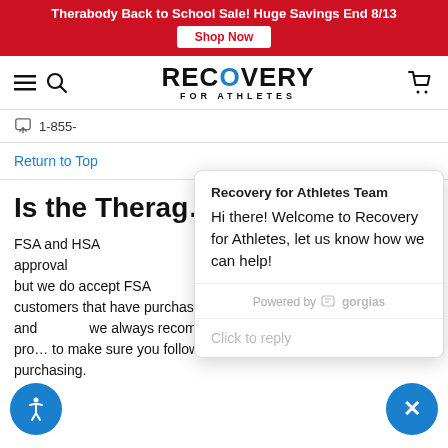Therabody Back to School Sale! Huge Savings End 8/13 — Shop Now
[Figure (logo): Recovery for Athletes logo with hamburger menu, search icon, and cart icon]
1-855-
Return to Top
Is the Therag…
FSA and HSA approval … but we do accept FSA … customers that have purchased a Theragun product using FSA and we always recommend contacting your insu… pro… to make sure you follow the appropriate step… purchasing.
[Figure (screenshot): Chat popup from Recovery for Athletes Team saying: Hi there! Welcome to Recovery for Athletes, let us know how we can help! Powered by gorgias. Click to reply.]